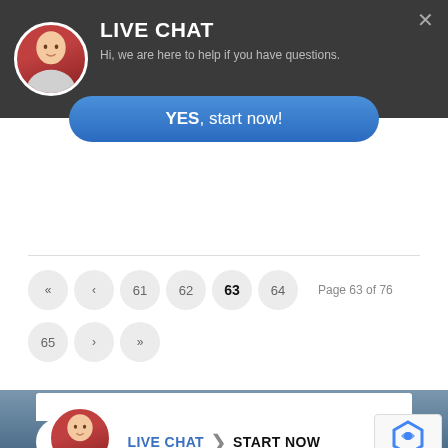[Figure (screenshot): Live chat popup bar at top: avatar of man, LIVE CHAT title, subtitle text, YES start now button, close X button]
LIVE CHAT
Hi, we are here to help if you have questions.
YES, start now!
[Figure (screenshot): Pagination controls showing page buttons: «, ‹, 61, 62, 63 (active/bold), 64, 65, ›, », and text 'Page 63 of 76']
Page 63 of 76
[Figure (screenshot): Bottom live chat bar with avatar, LIVE CHAT | START NOW button, and reCAPTCHA badge with Privacy·Terms]
LIVE CHAT | START NOW
Privacy · Terms